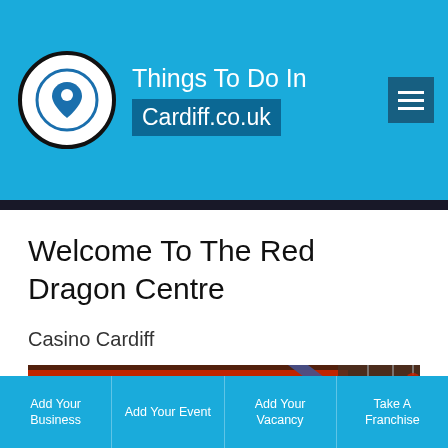Things To Do In Cardiff.co.uk
Welcome To The Red Dragon Centre
Casino Cardiff
[Figure (photo): Interior of Red Dragon Centre casino showing red neon lighting, blue accent strip, and hanging red pendant lights on the ceiling]
Add Your Business | Add Your Event | Add Your Vacancy | Take A Franchise